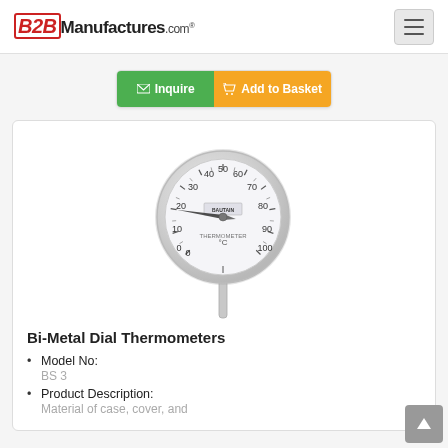B2BManufactures.com
Inquire | Add to Basket
[Figure (photo): A bi-metal dial thermometer with a circular analog gauge face showing temperature markings from 0 to 100°C, with a long metal stem extending downward from the bottom of the dial housing.]
Bi-Metal Dial Thermometers
Model No:
BS 3
Product Description:
Material of case, cover, and part of connection